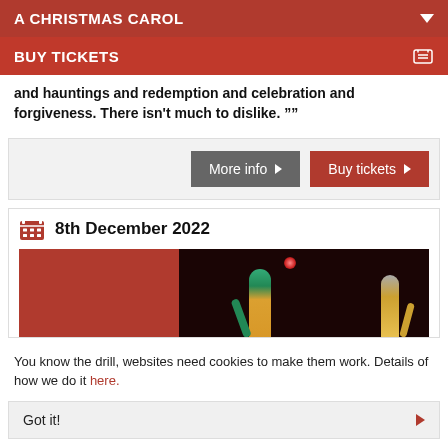A CHRISTMAS CAROL
BUY TICKETS
and hauntings and redemption and celebration and forgiveness. There isn't much to dislike. ””
More info | Buy tickets
8th December 2022
[Figure (photo): Two performers on stage: one with green headpiece raising hand, another in yellow dress, against dark curtain backdrop with red light]
You know the drill, websites need cookies to make them work. Details of how we do it here.
Got it!